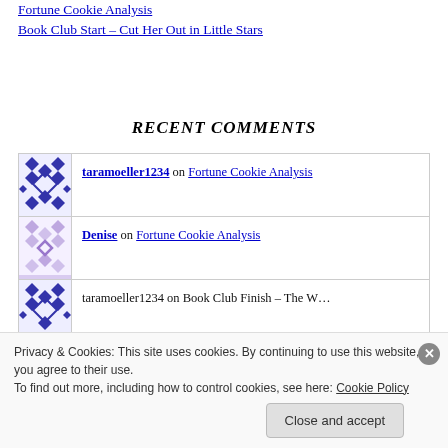Fortune Cookie Analysis
Book Club Start – Cut Her Out in Little Stars
RECENT COMMENTS
taramoeller1234 on Fortune Cookie Analysis
Denise on Fortune Cookie Analysis
taramoeller1234 on Book Club Finish – The W…
Privacy & Cookies: This site uses cookies. By continuing to use this website, you agree to their use.
To find out more, including how to control cookies, see here: Cookie Policy
Close and accept